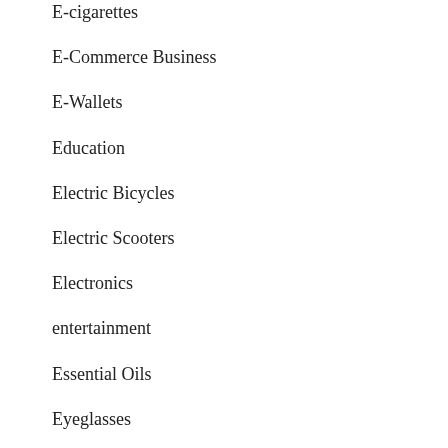E-cigarettes
E-Commerce Business
E-Wallets
Education
Electric Bicycles
Electric Scooters
Electronics
entertainment
Essential Oils
Eyeglasses
Fashion